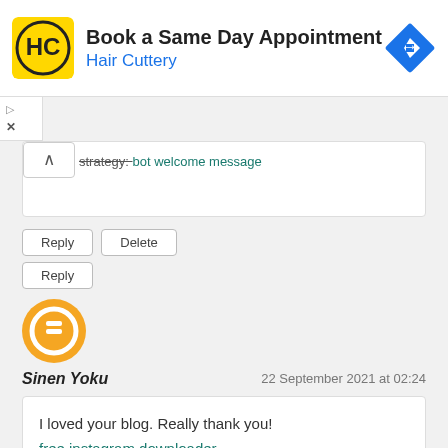[Figure (infographic): Advertisement banner for Hair Cuttery: Book a Same Day Appointment, with HC logo and blue navigation icon]
strategy: bot welcome message
Reply | Delete
Reply
[Figure (logo): Blogger user avatar: orange circle with white B icon]
Sinen Yoku
22 September 2021 at 02:24
I loved your blog. Really thank you!
free instagram downloader
Reply | Delete
Reply